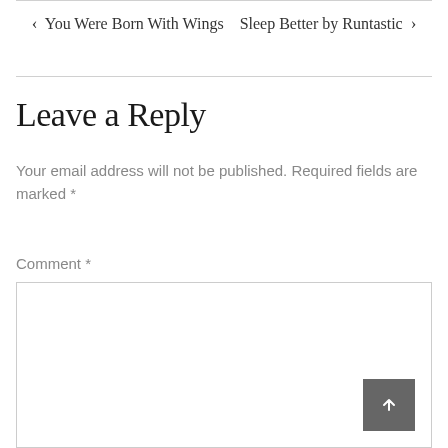‹ You Were Born With Wings   Sleep Better by Runtastic ›
Leave a Reply
Your email address will not be published. Required fields are marked *
Comment *